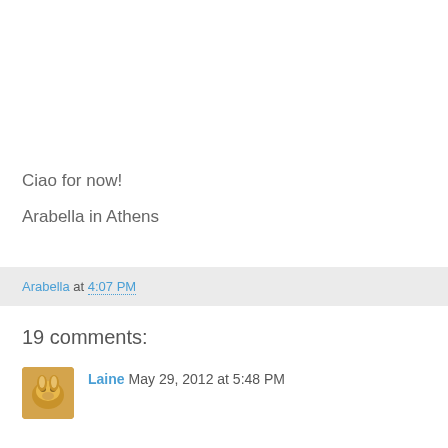Ciao for now!
Arabella in Athens
Arabella at 4:07 PM
19 comments:
Laine May 29, 2012 at 5:48 PM